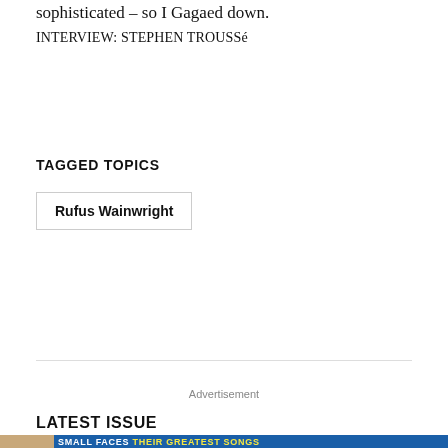sophisticated – so I Gagaed down.
INTERVIEW: STEPHEN TROUSSé
TAGGED TOPICS
Rufus Wainwright
Advertisement
LATEST ISSUE
[Figure (photo): Bottom banner showing Small Faces magazine cover with faces and text reading SMALL FACES THEIR GREATEST SONGS]